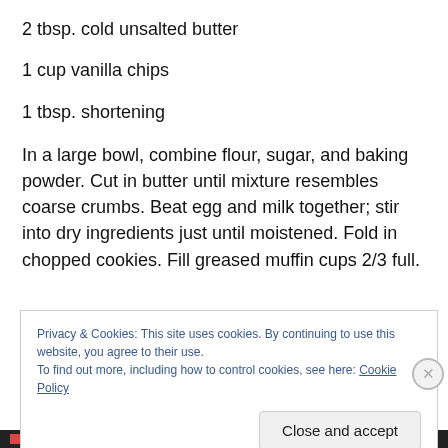2 tbsp. cold unsalted butter
1 cup vanilla chips
1 tbsp. shortening
In a large bowl, combine flour, sugar, and baking powder. Cut in butter until mixture resembles coarse crumbs. Beat egg and milk together; stir into dry ingredients just until moistened. Fold in chopped cookies. Fill greased muffin cups 2/3 full.
Privacy & Cookies: This site uses cookies. By continuing to use this website, you agree to their use.
To find out more, including how to control cookies, see here: Cookie Policy
Close and accept